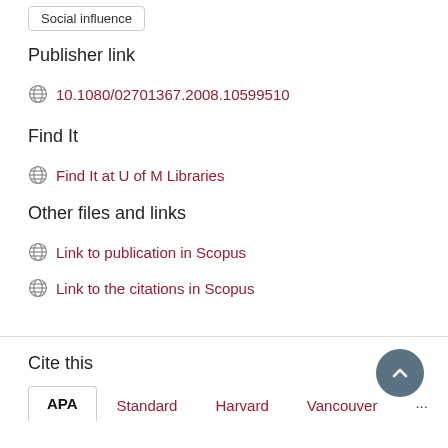Social influence
Publisher link
10.1080/02701367.2008.10599510
Find It
Find It at U of M Libraries
Other files and links
Link to publication in Scopus
Link to the citations in Scopus
Cite this
APA  Standard  Harvard  Vancouver  ...